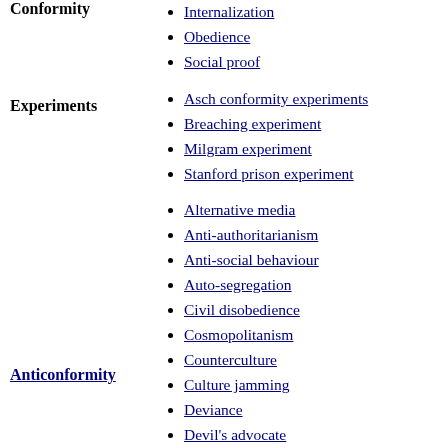Conformity
Internalization
Obedience
Social proof
Experiments
Asch conformity experiments
Breaching experiment
Milgram experiment
Stanford prison experiment
Anticonformity
Alternative media
Anti-authoritarianism
Anti-social behaviour
Auto-segregation
Civil disobedience
Cosmopolitanism
Counterculture
Culture jamming
Deviance
Devil's advocate
Dissent
Eccentricity
Eclecticism
Hermit
Idiosyncrasy
Individualism